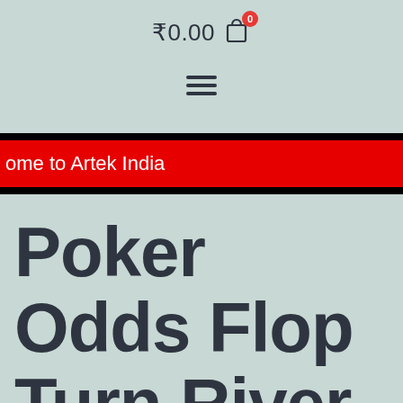₹0.00 🛒 0
[Figure (other): Hamburger menu icon (three horizontal lines)]
ome to Artek India
Poker Odds Flop Turn River – Free